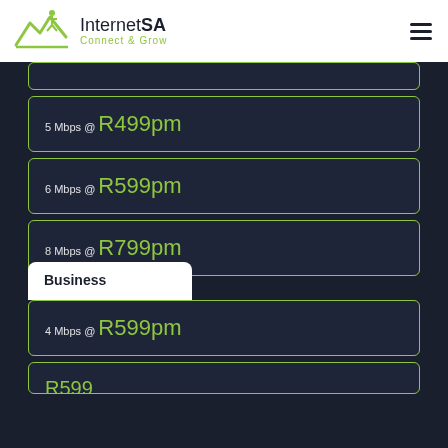InternetSA Connect & Grow
5 Mbps @ R499pm
6 Mbps @ R599pm
8 Mbps @ R799pm
Business
4 Mbps @ R599pm
R599...